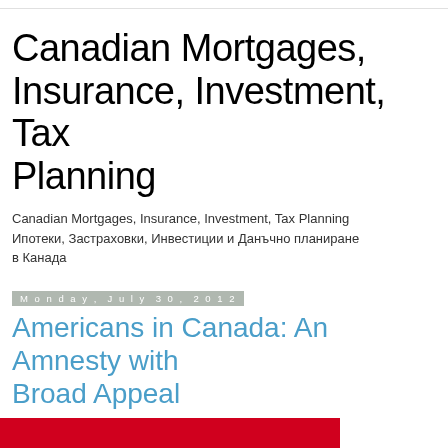Canadian Mortgages, Insurance, Investment, Tax Planning
Canadian Mortgages, Insurance, Investment, Tax Planning Ипотеки, Застраховки, Инвестиции и Данъчно планиране в Канада
Monday, July 30, 2012
Americans in Canada: An Amnesty with Broad Appeal